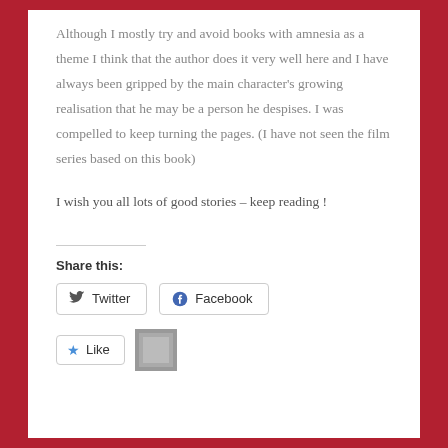Although I mostly try and avoid books with amnesia as a theme I think that the author does it very well here and I have always been gripped by the main character's growing realisation that he may be a person he despises. I was compelled to keep turning the pages. (I have not seen the film series based on this book)
I wish you all lots of good stories – keep reading !
Share this:
[Figure (other): Share buttons for Twitter and Facebook, and a Like button with a user avatar thumbnail]